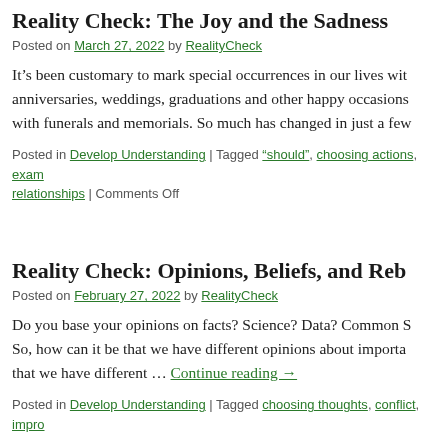Reality Check: The Joy and the Sadness
Posted on March 27, 2022 by RealityCheck
It’s been customary to mark special occurrences in our lives with anniversaries, weddings, graduations and other happy occasions, with funerals and memorials. So much has changed in just a few
Posted in Develop Understanding | Tagged “should”, choosing actions, exam relationships | Comments Off
Reality Check: Opinions, Beliefs, and Re…
Posted on February 27, 2022 by RealityCheck
Do you base your opinions on facts? Science? Data? Common S… So, how can it be that we have different opinions about importa… that we have different … Continue reading →
Posted in Develop Understanding | Tagged choosing thoughts, conflict, impro…